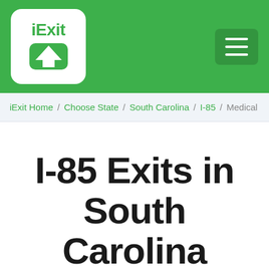[Figure (logo): iExit logo: white rounded square with green 'iExit' text and white arrow icon, on a green header bar with a hamburger menu button on the right]
iExit Home / Choose State / South Carolina / I-85 / Medical
I-85 Exits in South Carolina
Showing: Medical